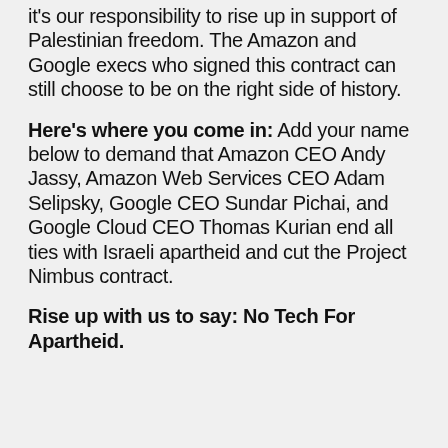it's our responsibility to rise up in support of Palestinian freedom. The Amazon and Google execs who signed this contract can still choose to be on the right side of history.
Here's where you come in: Add your name below to demand that Amazon CEO Andy Jassy, Amazon Web Services CEO Adam Selipsky, Google CEO Sundar Pichai, and Google Cloud CEO Thomas Kurian end all ties with Israeli apartheid and cut the Project Nimbus contract.
Rise up with us to say: No Tech For Apartheid.